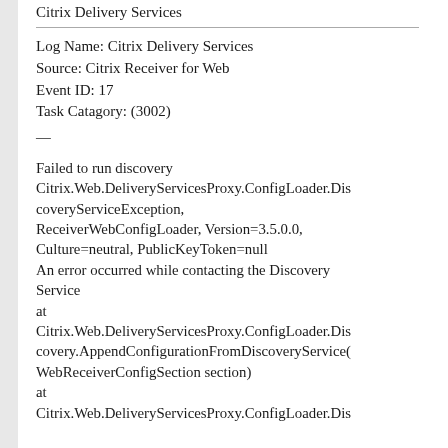Citrix Delivery Services
Log Name: Citrix Delivery Services
Source: Citrix Receiver for Web
Event ID: 17
Task Catagory: (3002)
—
Failed to run discovery Citrix.Web.DeliveryServicesProxy.ConfigLoader.DiscoveryServiceException, ReceiverWebConfigLoader, Version=3.5.0.0, Culture=neutral, PublicKeyToken=null An error occurred while contacting the Discovery Service at Citrix.Web.DeliveryServicesProxy.ConfigLoader.Discovery.AppendConfigurationFromDiscoveryService(WebReceiverConfigSection section) at Citrix.Web.DeliveryServicesProxy.ConfigLoader.Dis